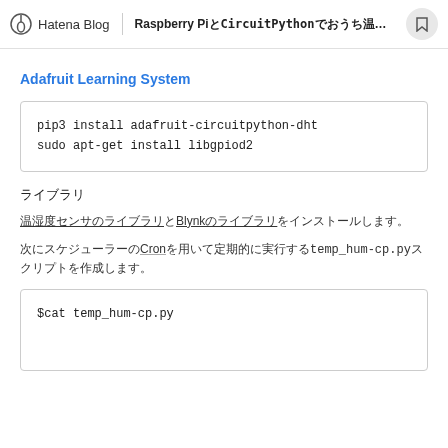Hatena Blog | Raspberry PiCircuitPython...
Adafruit Learning System
pip3 install adafruit-circuitpython-dht
sudo apt-get install libgpiod2
（Japanese characters）
（Japanese characters with underlines）
（Japanese characters）Cron（Japanese characters）temp_hum-cp.py（Japanese characters）
$cat temp_hum-cp.py